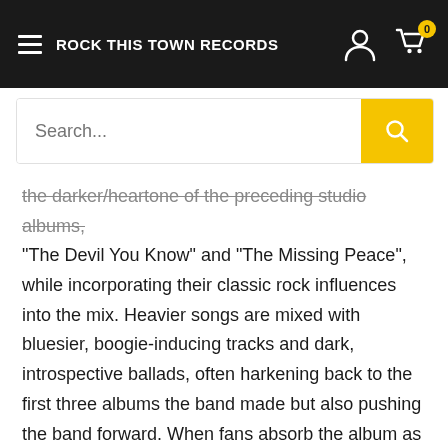ROCK THIS TOWN RECORDS
the darker/heartache of the preceding studio albums, "The Devil You Know" and "The Missing Peace", while incorporating their classic rock influences into the mix. Heavier songs are mixed with bluesier, boogie-inducing tracks and dark, introspective ballads, often harkening back to the first three albums the band made but also pushing the band forward. When fans absorb the album as a whole, they'll see that the tracklisting is divided up into 'sets' or 'suites', where a sonic style is explored across multiple songs before moving on to the next, making for a remarkable listening experience.